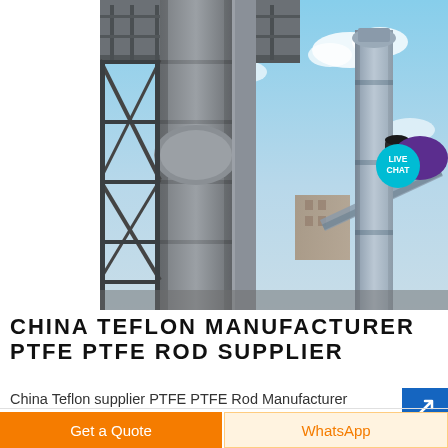[Figure (photo): Industrial facility with tall concrete/steel chimneys and metal scaffolding structures against a partly cloudy sky. View looking upward at heavy industrial equipment and towers.]
CHINA TEFLON MANUFACTURER PTFE PTFE ROD SUPPLIER
China Teflon supplier PTFE PTFE Rod Manufacturer
Get a Quote
WhatsApp